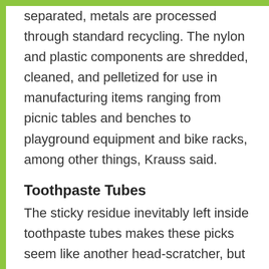separated, metals are processed through standard recycling. The nylon and plastic components are shredded, cleaned, and pelletized for use in manufacturing items ranging from picnic tables and benches to playground equipment and bike racks, among other things, Krauss said.
Toothpaste Tubes
The sticky residue inevitably left inside toothpaste tubes makes these picks seem like another head-scratcher, but they're actually much easier to recycle than you'd think.